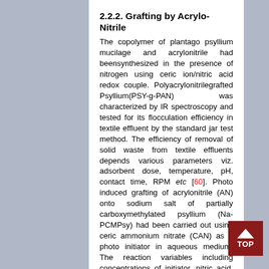2.2.2. Grafting by Acrylo-Nitrile
The copolymer of plantago psyllium mucilage and acrylonitrile had beensynthesized in the presence of nitrogen using ceric ion/nitric acid redox couple. Polyacrylonitrilegrafted Psyllium(PSY-g-PAN) was characterized by IR spectroscopy and tested for its flocculation efficiency in textile effluent by the standard jar test method. The efficiency of removal of solid waste from textile effluents depends various parameters viz. adsorbent dose, temperature, pH, contact time, RPM etc [60]. Photo induced grafting of acrylonitrile (AN) onto sodium salt of partially carboxymethylated psyllium (Na-PCMPsy) had been carried out using ceric ammonium nitrate (CAN) as a photo initiator in aqueous medium. The reaction variables including concentrations of initiator, nitric acid, monomer and amount of the backbone as well as time and temperature have been varied for establishing grafting. The influence